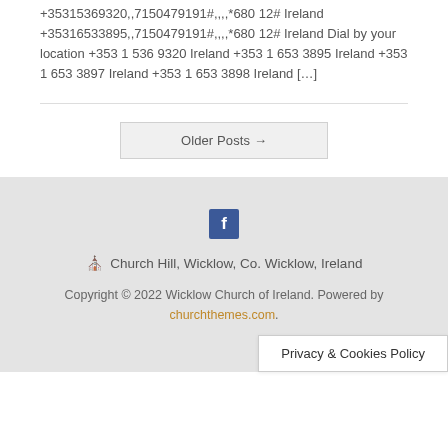9191 Passcode: 680 12 One tap mobile +35315369320,,7150479191#,,,,*680 12# Ireland +35316533895,,7150479191#,,,,*680 12# Ireland Dial by your location +353 1 536 9320 Ireland +353 1 653 3895 Ireland +353 1 653 3897 Ireland +353 1 653 3898 Ireland […]
Older Posts →
[Figure (other): Facebook icon button (blue square with white F)]
⛪ Church Hill, Wicklow, Co. Wicklow, Ireland
Copyright © 2022 Wicklow Church of Ireland. Powered by churchthemes.com.
Privacy & Cookies Policy